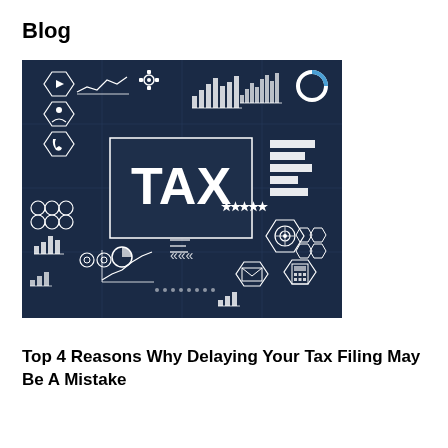Blog
[Figure (illustration): Dark blue infographic image with the word TAX in large white bold letters at the center, surrounded by various financial and business icons including charts, bar graphs, gears, people icons, phone, envelope, target/bullseye, calculator, and other data visualization elements on a dark navy background.]
Top 4 Reasons Why Delaying Your Tax Filing May Be A Mistake